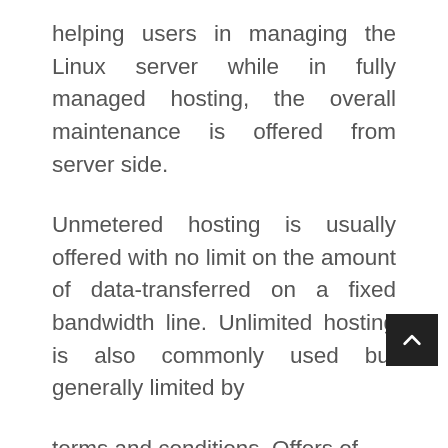helping users in managing the Linux server while in fully managed hosting, the overall maintenance is offered from server side.
Unmetered hosting is usually offered with no limit on the amount of data-transferred on a fixed bandwidth line. Unlimited hosting is also commonly used but generally limited by
terms and conditions. Offers of